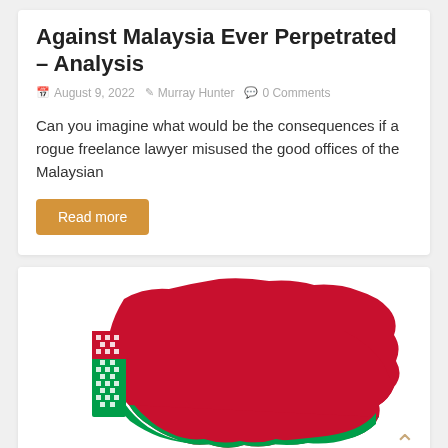Against Malaysia Ever Perpetrated – Analysis
August 9, 2022  Murray Hunter  0 Comments
Can you imagine what would be the consequences if a rogue freelance lawyer misused the good offices of the Malaysian
Read more
[Figure (map): Map of Belarus shaped as the national flag with red, green, and white traditional pattern stripe on the left side]